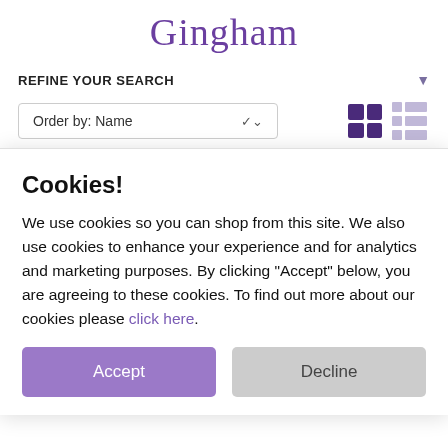Gingham
REFINE YOUR SEARCH
Order by: Name
Cookies!
We use cookies so you can shop from this site. We also use cookies to enhance your experience and for analytics and marketing purposes. By clicking "Accept" below, you are agreeing to these cookies. To find out more about our cookies please click here.
Accept
Decline